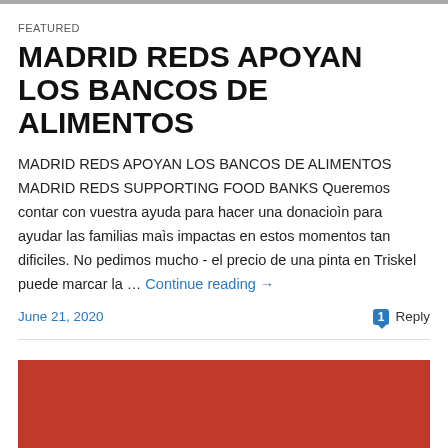FEATURED
MADRID REDS APOYAN LOS BANCOS DE ALIMENTOS
MADRID REDS APOYAN LOS BANCOS DE ALIMENTOS MADRID REDS SUPPORTING FOOD BANKS Queremos contar con vuestra ayuda para hacer una donacioìn para ayudar las familias maìs impactas en estos momentos tan dificiles. No pedimos mucho - el precio de una pinta en Triskel puede marcar la … Continue reading →
June 21, 2020    1 Reply
[Figure (photo): Red colored image/banner at the bottom of the page]